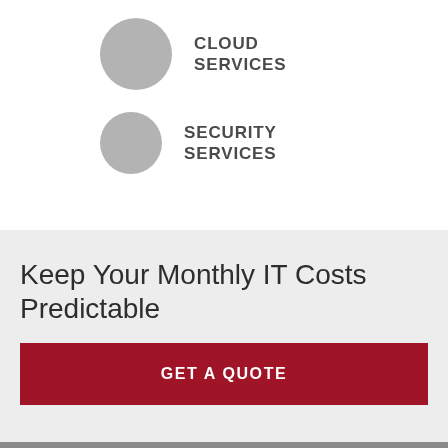[Figure (illustration): Gray circle icon representing Cloud Services]
CLOUD SERVICES
[Figure (illustration): Gray circle icon representing Security Services]
SECURITY SERVICES
Keep Your Monthly IT Costs Predictable
GET A QUOTE